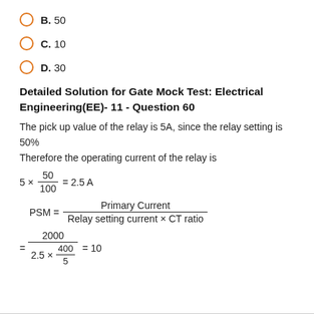B. 50
C. 10
D. 30
Detailed Solution for Gate Mock Test: Electrical Engineering(EE)- 11 - Question 60
The pick up value of the relay is 5A, since the relay setting is 50% Therefore the operating current of the relay is